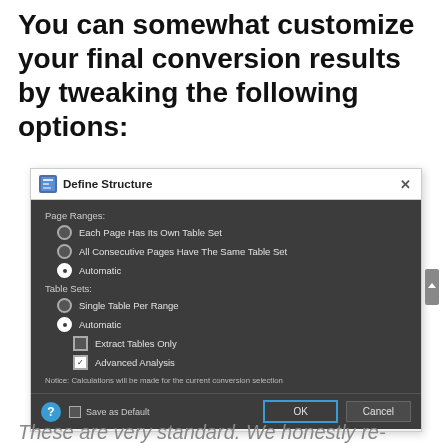You can somewhat customize your final conversion results by tweaking the following options:
[Figure (screenshot): Define Structure dialog box showing Page Ranges options (Each Page Has Its Own Table Set, All Consecutive Pages Have The Same Table Set, Automatic selected), Table Sets options (Single Table Per Range, Automatic selected), checkboxes for Extract Tables Only (unchecked) and Advanced Analysis (checked), a notice about calculations, and footer with help button, Save as Default checkbox, OK and Cancel buttons.]
These are very standard. We honestly re-